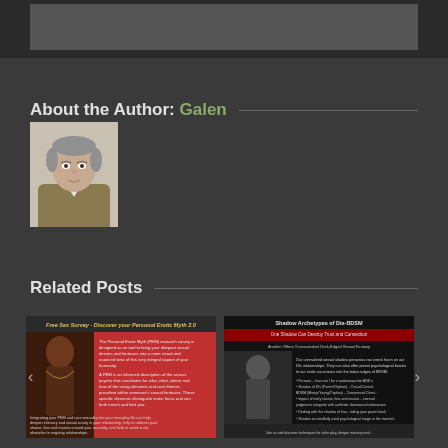[Figure (other): Dark top banner area with a gray rectangle inside]
About the Author: Galen
[Figure (photo): Headshot photo of an older man in a tan jacket with white shirt, gray hair, against a light background]
Related Posts
[Figure (screenshot): Thumbnail of post titled 'Free Sex Survey - Discover your Personal Erotic Myth 2.0' with red background and text]
[Figure (screenshot): Thumbnail of post titled 'Shadow Archetypes of Dis-BDSM: One Shadow Can Destroy Trust and Connection, Another Offers Transcendent Dark-Edged Sexual Ecstasy' with black and red design]